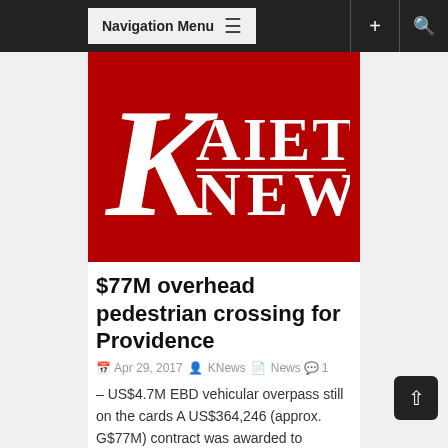Navigation Menu
[Figure (logo): Kaieteur News logo — white serif text on red background, large K with AIETEUR NEWS]
$77M overhead pedestrian crossing for Providence
Apr 29, 2017 · KNews · News · 1
– US$4.7M EBD vehicular overpass still on the cards A US$364,246 (approx. G$77M) contract was awarded to contractor, S. Jagmohan Hardware Supplies and Construction Services, for the...